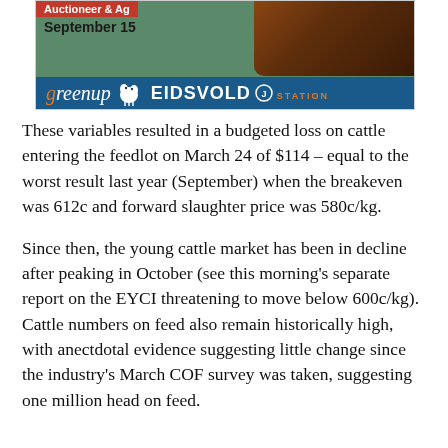[Figure (other): Advertisement for Greenup Eidsvold Station auction, September 15, featuring a bull photo and branded logo bar]
These variables resulted in a budgeted loss on cattle entering the feedlot on March 24 of $114 – equal to the worst result last year (September) when the breakeven was 612c and forward slaughter price was 580c/kg.
Since then, the young cattle market has been in decline after peaking in October (see this morning's separate report on the EYCI threatening to move below 600c/kg).  Cattle numbers on feed also remain historically high, with anectdotal evidence suggesting little change since the industry's March COF survey was taken, suggesting one million head on feed.